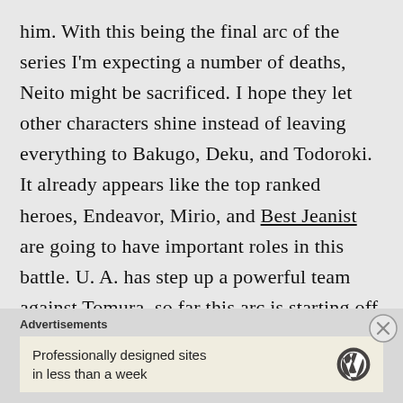him. With this being the final arc of the series I'm expecting a number of deaths, Neito might be sacrificed. I hope they let other characters shine instead of leaving everything to Bakugo, Deku, and Todoroki. It already appears like the top ranked heroes, Endeavor, Mirio, and Best Jeanist are going to have important roles in this battle. U. A. has step up a powerful team against Tomura, so far this arc is starting off well.
Advertisements
[Figure (other): Advertisement box with text 'Professionally designed sites in less than a week' and WordPress logo]